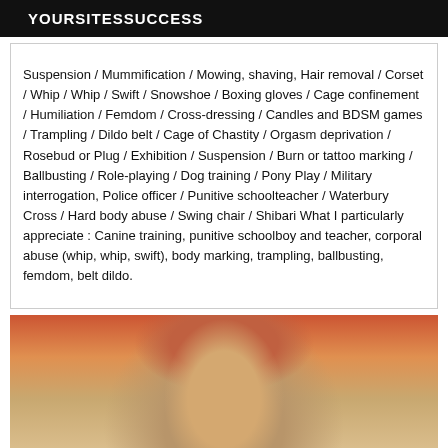YOURSITESSUCCESS
Suspension / Mummification / Mowing, shaving, Hair removal / Corset / Whip / Whip / Swift / Snowshoe / Boxing gloves / Cage confinement / Humiliation / Femdom / Cross-dressing / Candles and BDSM games / Trampling / Dildo belt / Cage of Chastity / Orgasm deprivation / Rosebud or Plug / Exhibition / Suspension / Burn or tattoo marking / Ballbusting / Role-playing / Dog training / Pony Play / Military interrogation, Police officer / Punitive schoolteacher / Waterbury Cross / Hard body abuse / Swing chair / Shibari What I particularly appreciate : Canine training, punitive schoolboy and teacher, corporal abuse (whip, whip, swift), body marking, trampling, ballbusting, femdom, belt dildo.
[Figure (photo): Partial photo of a person with blonde hair, warm-toned background with red and orange hues.]